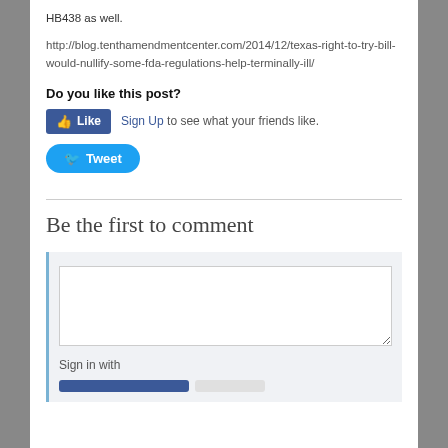HB438 as well.
http://blog.tenthamendmentcenter.com/2014/12/texas-right-to-try-bill-would-nullify-some-fda-regulations-help-terminally-ill/
Do you like this post?
[Figure (other): Facebook Like button and Sign Up link with text 'Sign Up to see what your friends like.']
[Figure (other): Twitter Tweet button]
Be the first to comment
[Figure (other): Comment form with textarea, Sign in with label, and sign-in buttons]